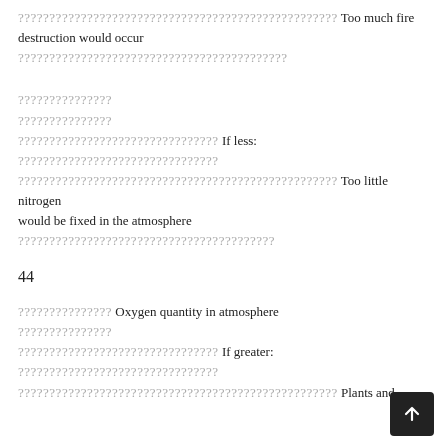??????????????????????????????????????????????????? Too much fire destruction would occur
???????????????????????????????????????????
???????????????
???????????????
???????????????????????????????? If less:
????????????????????????????????
??????????????????????????????????????????????????? Too little nitrogen would be fixed in the atmosphere
?????????????????????????????????????????
44
??????????????? Oxygen quantity in atmosphere
???????????????
???????????????????????????????? If greater:
????????????????????????????????
??????????????????????????????????????????????????? Plants and